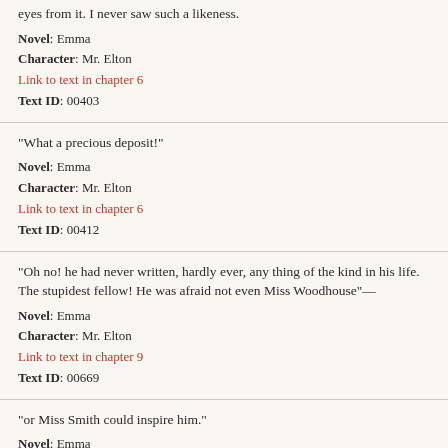eyes from it. I never saw such a likeness.
Novel: Emma
Character: Mr. Elton
Link to text in chapter 6
Text ID: 00403
"What a precious deposit!"
Novel: Emma
Character: Mr. Elton
Link to text in chapter 6
Text ID: 00412
"Oh no! he had never written, hardly ever, any thing of the kind in his life. The stupidest fellow! He was afraid not even Miss Woodhouse"—
Novel: Emma
Character: Mr. Elton
Link to text in chapter 9
Text ID: 00669
"or Miss Smith could inspire him."
Novel: Emma